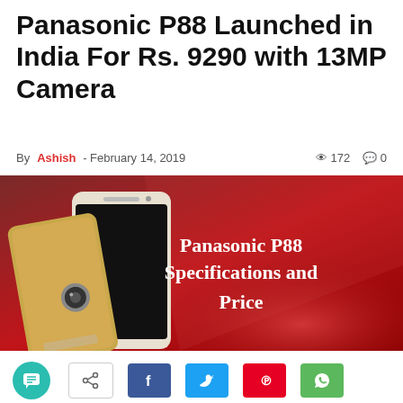Panasonic P88 Launched in India For Rs. 9290 with 13MP Camera
By Ashish - February 14, 2019  172  0
[Figure (photo): Panasonic P88 smartphone shown front and back on a dark red gradient background with text 'Panasonic P88 Specifications and Price']
[Figure (infographic): Social sharing bar with chat button (teal), share icon button (outlined), Facebook (blue), Twitter (light blue), Pinterest (red), WhatsApp (green) buttons]